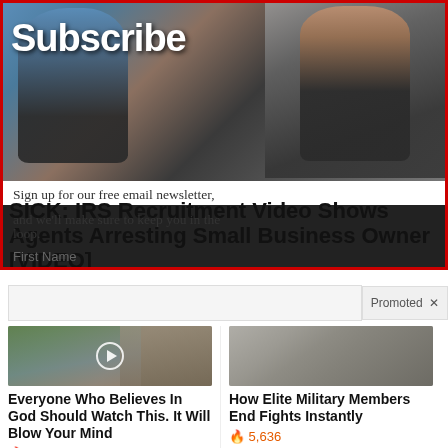[Figure (photo): Screenshot of a news website with a Subscribe overlay on a photo of police/law enforcement agents, showing a newsletter signup prompt and article headline about IRS recruitment video showing agents arresting small business owner]
SICK: IRS Recruitment Video Shows Agents Arresting Small Business Owner [VIDEO]
Sign up for our free email newsletter, and we'll make sure to keep you in the loop.
First Name
Promoted X
[Figure (photo): Photo of Kamala Harris pointing, with a video play button overlay]
Everyone Who Believes In God Should Watch This. It Will Blow Your Mind
698,262
[Figure (photo): Photo of two people fighting or grappling]
How Elite Military Members End Fights Instantly
5,636